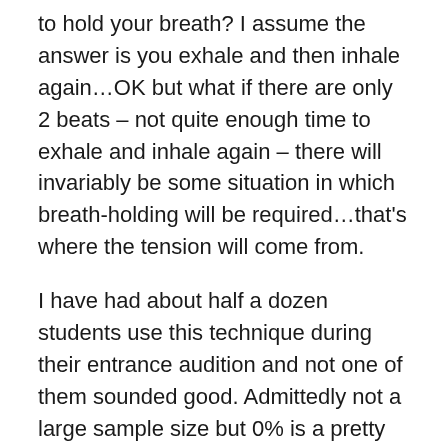to hold your breath? I assume the answer is you exhale and then inhale again…OK but what if there are only 2 beats – not quite enough time to exhale and inhale again – there will invariably be some situation in which breath-holding will be required…that's where the tension will come from.
I have had about half a dozen students use this technique during their entrance audition and not one of them sounded good. Admittedly not a large sample size but 0% is a pretty poor success rate. And to the idea that this technique is only to be used in very specific circumstances…the students who auditioned for me did not understand that – perhaps it was not made clear to them – perhaps somebody did a poor job of explaining…I do not buy this argument – this technique was ultimately harmful to their playing – why on earth would we risk